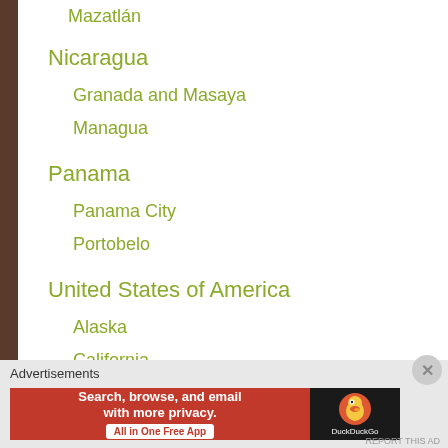Mazatlán
Nicaragua
Granada and Masaya
Managua
Panama
Panama City
Portobelo
United States of America
Alaska
California
Advertisements
[Figure (screenshot): DuckDuckGo advertisement banner: 'Search, browse, and email with more privacy. All in One Free App' with DuckDuckGo logo on dark background]